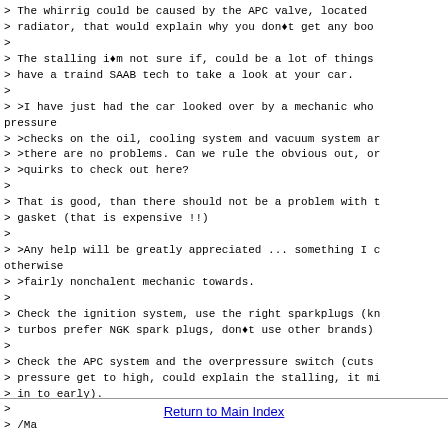> The whirrig could be caused by the APC valve, located
> radiator, that would explain why you don't get any boo
>
> The stalling i'm not sure if, could be a lot of things
> have a traind SAAB tech to take a look at your car.
>
> >I have just had the car looked over by a mechanic who
pressure
> >checks on the oil, cooling system and vacuum system ar
> >there are no problems. Can we rule the obvious out, or
> >quirks to check out here?
>
> That is good, than there should not be a problem with t
> gasket (that is expensive !!)
>
> >Any help will be greatly appreciated ... something I c
otherwise
> >fairly nonchalent mechanic towards.
>
> Check the ignition system, use the right sparkplugs (kn
> turbos prefer NGK spark plugs, don't use other brands)
>
> Check the APC system and the overpressure switch (cuts
> pressure get to high, could explain the stalling, it mi
> in to early).
>
> /Ma
Return to Main Index